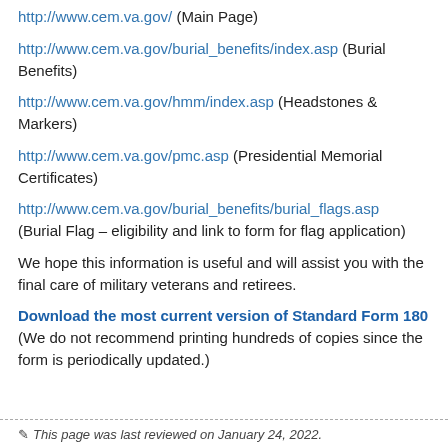http://www.cem.va.gov/ (Main Page)
http://www.cem.va.gov/burial_benefits/index.asp (Burial Benefits)
http://www.cem.va.gov/hmm/index.asp (Headstones & Markers)
http://www.cem.va.gov/pmc.asp (Presidential Memorial Certificates)
http://www.cem.va.gov/burial_benefits/burial_flags.asp (Burial Flag – eligibility and link to form for flag application)
We hope this information is useful and will assist you with the final care of military veterans and retirees.
Download the most current version of Standard Form 180 (We do not recommend printing hundreds of copies since the form is periodically updated.)
This page was last reviewed on January 24, 2022.